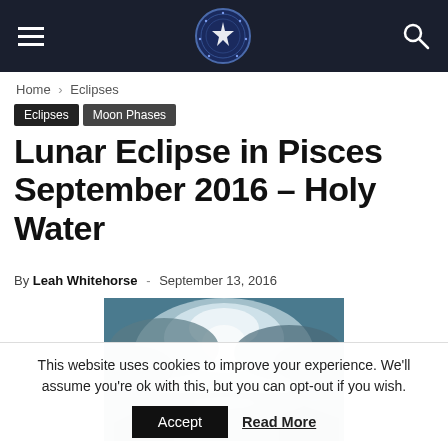Navigation bar with hamburger menu, moon/astrology site logo, and search icon
Home › Eclipses
Eclipses
Moon Phases
Lunar Eclipse in Pisces September 2016 – Holy Water
By Leah Whitehorse - September 13, 2016
[Figure (photo): Painting of a stormy sea with bright light breaking through cloudy, turbulent skies — likely an oil painting depicting rough ocean waters]
This website uses cookies to improve your experience. We'll assume you're ok with this, but you can opt-out if you wish.
Accept   Read More